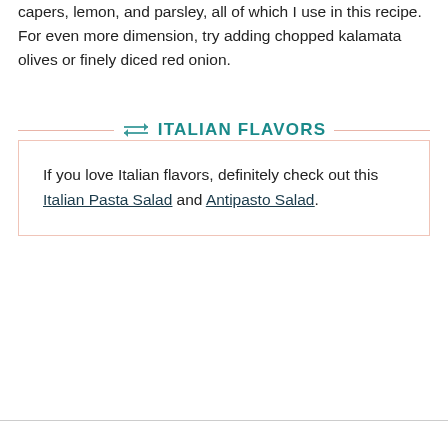capers, lemon, and parsley, all of which I use in this recipe. For even more dimension, try adding chopped kalamata olives or finely diced red onion.
ITALIAN FLAVORS
If you love Italian flavors, definitely check out this Italian Pasta Salad and Antipasto Salad.